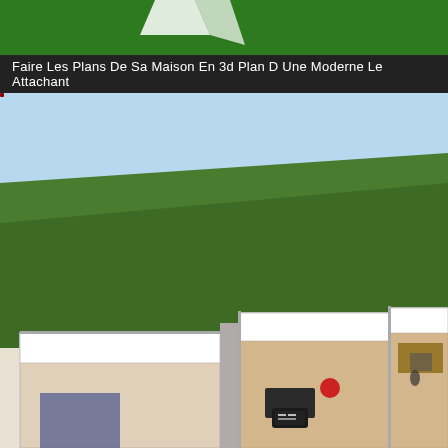[Figure (photo): Green header banner area with partial white logo/text visible at top]
Faire Les Plans De Sa Maison En 3d Plan D Une Moderne Le Attachant
[Figure (photo): 3D bird's-eye view rendering of a modern house floor plan showing rooms with white walls, green lawn/grass area, light blue sky, interior furnishings including a blue rug, wooden floors, furniture, and small figurines of people]